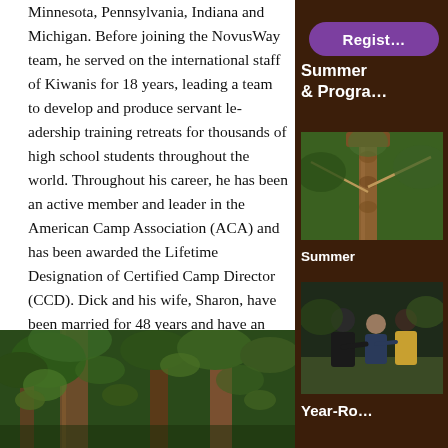Minnesota, Pennsylvania, Indiana and Michigan. Before joining the NovusWay team, he served on the international staff of Kiwanis for 18 years, leading a team to develop and produce servant leadership training retreats for thousands of high school students throughout the world. Throughout his career, he has been an active member and leader in the American Camp Association (ACA) and has been awarded the Lifetime Designation of Certified Camp Director (CCD). Dick and his wife, Sharon, have been married for 48 years and have an active family of three children, two sons-in law and four amazing grandchildren!
[Figure (photo): Photo of forest trees and foliage at the bottom of the left column]
[Figure (other): Register button (purple rounded rectangle) in the right sidebar]
Summer & Programs
[Figure (photo): Photo of camp structure/ropes course element in the right sidebar]
Summer
[Figure (photo): Photo of people in the right sidebar, appears to show camp counselors or participants]
Year-Ro...